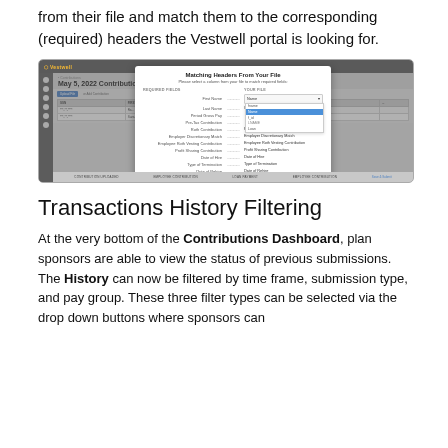from their file and match them to the corresponding (required) headers the Vestwell portal is looking for.
[Figure (screenshot): Screenshot of the Vestwell portal showing the 'Matching Headers From Your File' modal dialog. The modal displays two columns: 'REQUIRED FIELDS' on the left and 'YOUR FILE' on the right, with rows for First Name, Last Name, Period Gross Pay, Pre-Tax Contribution, Roth Contribution, Employee Discretionary Match, Employee Roth Vesting Contribution, Profit Sharing Contribution, Date of Hire, Type of Termination, Date of Rehire. A dropdown is open on the First Name row. Buttons at the bottom say 'Back' and 'Continue'.]
Transactions History Filtering
At the very bottom of the Contributions Dashboard, plan sponsors are able to view the status of previous submissions. The History can now be filtered by time frame, submission type, and pay group. These three filter types can be selected via the drop down buttons where sponsors can choose between the available filters to narrow their viewing.